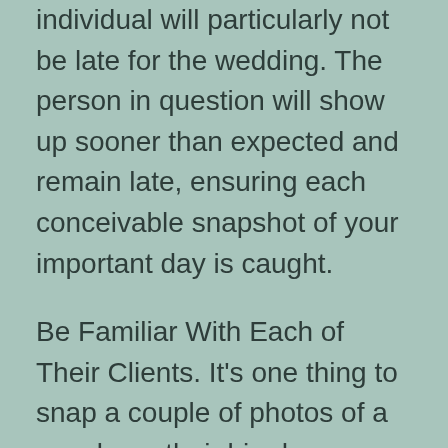individual will particularly not be late for the wedding. The person in question will show up sooner than expected and remain late, ensuring each conceivable snapshot of your important day is caught.
Be Familiar With Each of Their Clients. It's one thing to snap a couple of photos of a couple on their big day utilizing a mobile phone camera and at absolutely no point ever seeing the couple in the future. It's something else to be a wedding photographic artist working intimately with the couple to guarantee their important day is impeccably caught. A wedding